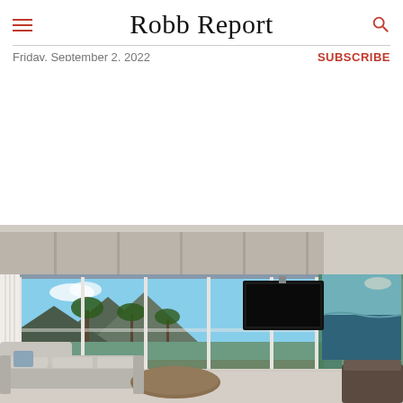Robb Report — Friday, September 2, 2022 — SUBSCRIBE
[Figure (photo): Luxury modern living room with floor-to-ceiling glass walls, white sofas, a wall-mounted TV, and views of palm trees, mountains, and ocean/sea beyond]